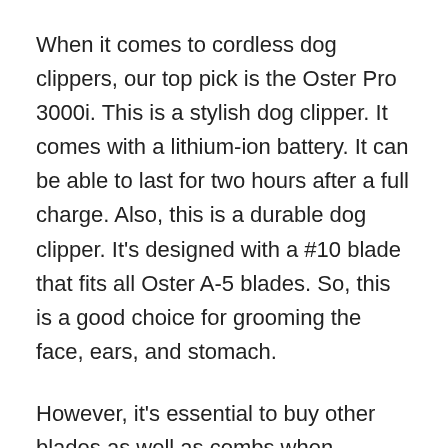When it comes to cordless dog clippers, our top pick is the Oster Pro 3000i. This is a stylish dog clipper. It comes with a lithium-ion battery. It can be able to last for two hours after a full charge. Also, this is a durable dog clipper. It's designed with a #10 blade that fits all Oster A-5 blades. So, this is a good choice for grooming the face, ears, and stomach.
However, it's essential to buy other blades as well as combs when needed. This dog clipper is actually one of the most expensive machines. However, it's great for not only home use but also professional use.